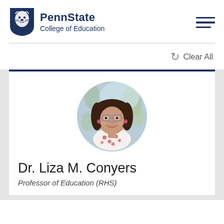PennState College of Education
Clear All
[Figure (photo): Circular portrait photo of Dr. Liza M. Conyers, a woman with dark hair and glasses wearing a floral top, with plants in the background.]
Dr. Liza M. Conyers
Professor of Education (RHS)